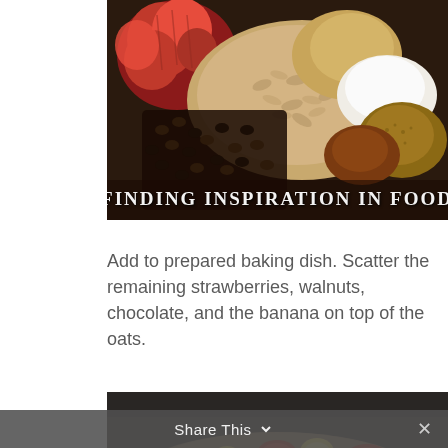[Figure (photo): Overhead photo of oats, chocolate chips, strawberries, coconut, cinnamon, and other baking ingredients in a bowl, with text overlay 'FINDING INSPIRATION IN FOOD']
Add to prepared baking dish. Scatter the remaining strawberries, walnuts, chocolate, and the banana on top of the oats.
[Figure (photo): Photo of a baking dish with oats topped with sliced strawberries, banana slices, chocolate chips, and other toppings]